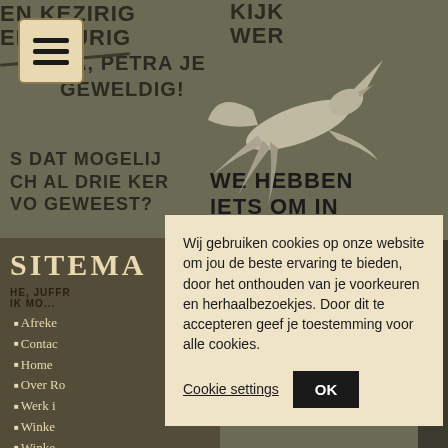[Figure (illustration): Screenshot of a Dutch comics website with a dark sepia-toned comic book background showing speech bubble text fragments, a hamburger menu button, a white flying figure illustration, a sitemap sidebar with navigation links, and a cookie consent dialog overlay.]
Wij gebruiken cookies op onze website om jou de beste ervaring te bieden, door het onthouden van je voorkeuren en herhaalbezoekjes. Door dit te accepteren geef je toestemming voor alle cookies.
Cookie settings
OK
SITEMA
Afreke
Contac
Home
Over Ro
Werk i
Winke
Winke